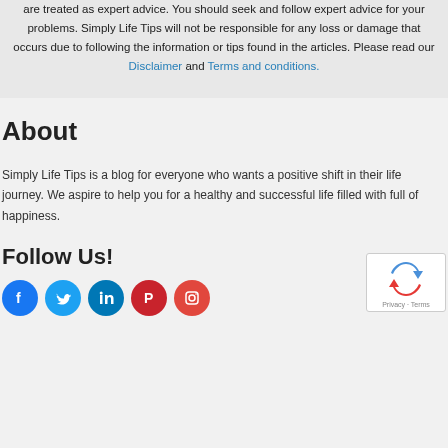are treated as expert advice. You should seek and follow expert advice for your problems. Simply Life Tips will not be responsible for any loss or damage that occurs due to following the information or tips found in the articles. Please read our Disclaimer and Terms and conditions.
About
Simply Life Tips is a blog for everyone who wants a positive shift in their life journey. We aspire to help you for a healthy and successful life filled with full of happiness.
Follow Us!
[Figure (other): Social media icons: Facebook, Twitter, LinkedIn, Pinterest, Instagram]
[Figure (other): reCAPTCHA widget showing recycling arrows logo with Privacy and Terms links]